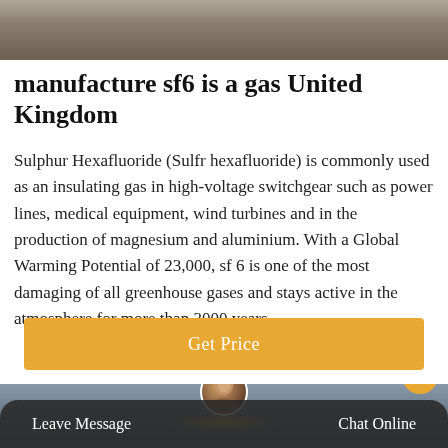[Figure (photo): Top partial image showing industrial/outdoor scene with blurred background]
manufacture sf6 is a gas United Kingdom
Sulphur Hexafluoride (Sulfr hexafluoride) is commonly used as an insulating gas in high-voltage switchgear such as power lines, medical equipment, wind turbines and in the production of magnesium and aluminium. With a Global Warming Potential of 23,000, sf 6 is one of the most damaging of all greenhouse gases and stays active in the atmosphere for more than 3000 years.
[Figure (other): Orange Get Price button]
[Figure (photo): Bottom partial image showing industrial facility with power lines, with chat bar overlay showing Leave Message and Chat Online options and a customer service avatar]